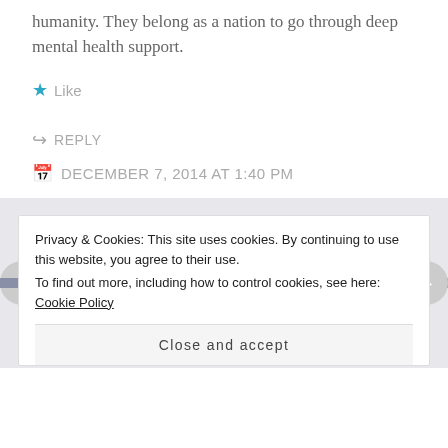humanity. They belong as a nation to go through deep mental health support.
Like
REPLY
DECEMBER 7, 2014 AT 1:40 PM
[Figure (other): Navigation section with left/right arrows, horizontal bar, and decorative circular logo in center]
Privacy & Cookies: This site uses cookies. By continuing to use this website, you agree to their use.
To find out more, including how to control cookies, see here: Cookie Policy
Close and accept